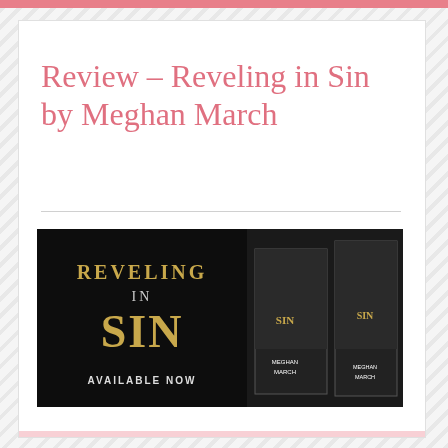Review – Reveling in Sin by Meghan March
[Figure (photo): Book promotional banner for 'Reveling in Sin' by Meghan March on a black background with gold lettering reading 'REVELING IN SIN AVAILABLE NOW', showing ebook and paperback cover images]